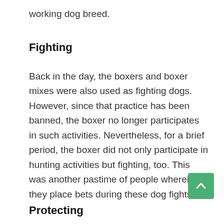working dog breed.
Fighting
Back in the day, the boxers and boxer mixes were also used as fighting dogs. However, since that practice has been banned, the boxer no longer participates in such activities. Nevertheless, for a brief period, the boxer did not only participate in hunting activities but fighting, too. This was another pastime of people wherein they place bets during these dog fights.
Protecting